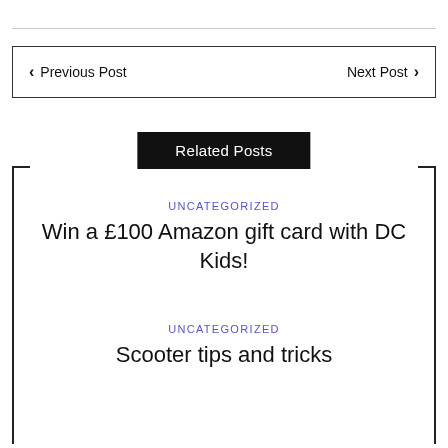Previous Post    Next Post
Related Posts
UNCATEGORIZED
Win a £100 Amazon gift card with DC Kids!
UNCATEGORIZED
Scooter tips and tricks